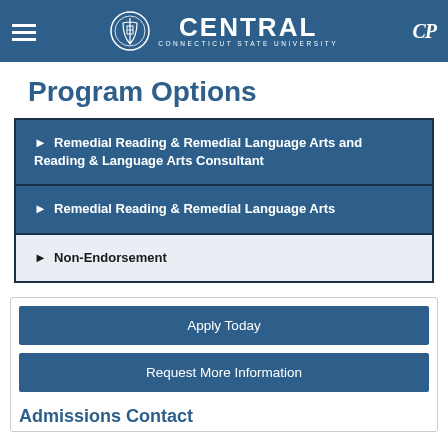CENTRAL CONNECTICUT STATE UNIVERSITY
Program Options
► Remedial Reading & Remedial Language Arts and Reading & Language Arts Consultant
► Remedial Reading & Remedial Language Arts
► Non-Endorsement
Apply Today
Request More Information
Admissions Contact